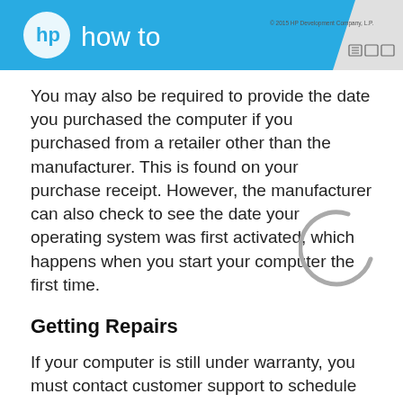[Figure (screenshot): HP 'how to' header bar with HP logo on blue background, copyright text and window icons on grey right side]
You may also be required to provide the date you purchased the computer if you purchased from a retailer other than the manufacturer. This is found on your purchase receipt. However, the manufacturer can also check to see the date your operating system was first activated, which happens when you start your computer the first time.
Getting Repairs
If your computer is still under warranty, you must contact customer support to schedule repairs. If you can do the repairs yourself, you may be able to just order the parts without having to send your computer in. The manufacturer pays for shipping, but you may be responsible for providing the intial packaging